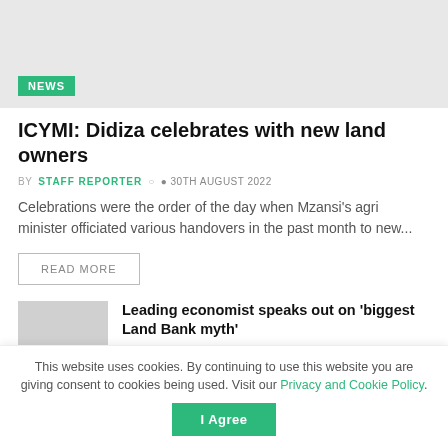[Figure (photo): Hero image placeholder, light gray background with NEWS badge overlay]
ICYMI: Didiza celebrates with new land owners
BY STAFF REPORTER  30TH AUGUST 2022
Celebrations were the order of the day when Mzansi's agri minister officiated various handovers in the past month to new...
READ MORE
[Figure (photo): Small thumbnail image placeholder for related article]
Leading economist speaks out on 'biggest Land Bank myth'
29TH AUGUST 2022
This website uses cookies. By continuing to use this website you are giving consent to cookies being used. Visit our Privacy and Cookie Policy.
I Agree